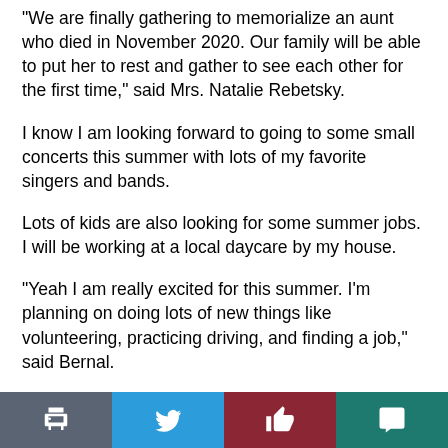“We are finally gathering to memorialize an aunt who died in November 2020.  Our family will be able to put her to rest and gather to see each other for the first time,” said Mrs. Natalie Rebetsky.
I know I am looking forward to going to some small concerts this summer with lots of my favorite singers and bands.
Lots of kids are also looking for some summer jobs. I will be working at a local daycare by my house.
“Yeah I am really excited for this summer. I’m planning on doing lots of new things like volunteering, practicing driving, and finding a job,” said Bernal.
Bernal is looking for a part-time job in Frederick.
“I’ve been working really hard and it will be nice to have
[Figure (other): Bottom navigation bar with four buttons: print (grey), Twitter (blue), like/thumbs-up (dark red), and comment/speech bubble (teal)]